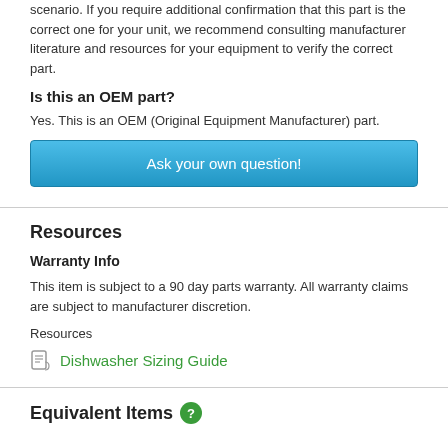scenario. If you require additional confirmation that this part is the correct one for your unit, we recommend consulting manufacturer literature and resources for your equipment to verify the correct part.
Is this an OEM part?
Yes. This is an OEM (Original Equipment Manufacturer) part.
Ask your own question!
Resources
Warranty Info
This item is subject to a 90 day parts warranty. All warranty claims are subject to manufacturer discretion.
Resources
Dishwasher Sizing Guide
Equivalent Items